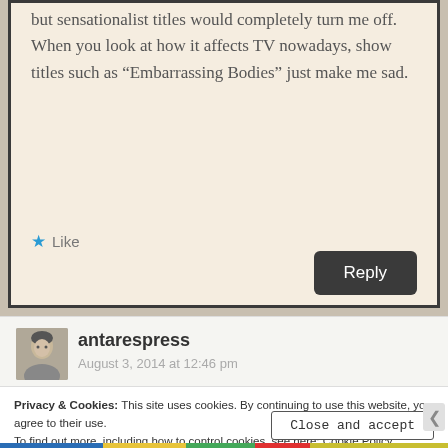but sensationalist titles would completely turn me off. When you look at how it affects TV nowadays, show titles such as “Embarrassing Bodies” just make me sad.
★ Like
Reply
antarespress
August 3, 2014 at 12:46 pm
Privacy & Cookies: This site uses cookies. By continuing to use this website, you agree to their use.
To find out more, including how to control cookies, see here: Cookie Policy
Close and accept